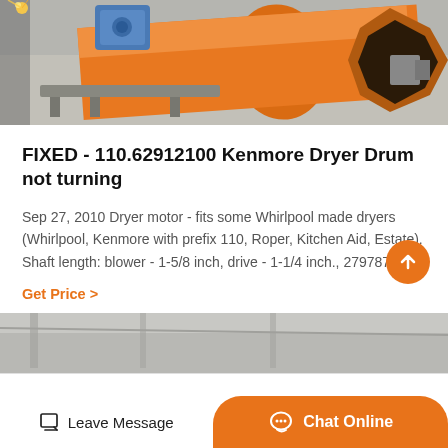[Figure (photo): Industrial orange cylindrical drum/dryer equipment in a workshop/factory setting, with blue machinery visible in the background on a concrete floor.]
FIXED - 110.62912100 Kenmore Dryer Drum not turning
Sep 27, 2010 Dryer motor - fits some Whirlpool made dryers (Whirlpool, Kenmore with prefix 110, Roper, Kitchen Aid, Estate). Shaft length: blower - 1-5/8 inch, drive - 1-1/4 inch., 279787 /…
Get Price  >
[Figure (photo): Partial view of industrial equipment in a facility, bottom portion of the page.]
Leave Message   Chat Online